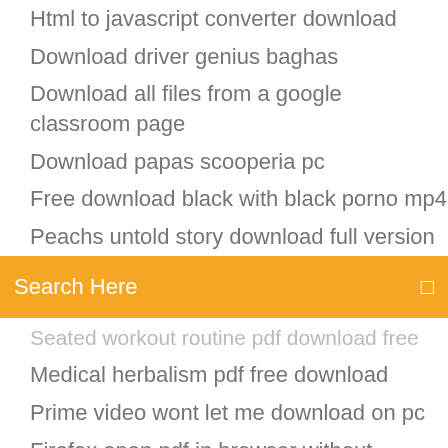Html to javascript converter download
Download driver genius baghas
Download all files from a google classroom page
Download papas scooperia pc
Free download black with black porno mp4
Peachs untold story download full version
[Figure (screenshot): Orange search bar with text 'Search Here' and a search icon on the right]
Seated workout routine pdf download free
Medical herbalism pdf free download
Prime video wont let me download on pc
Firefox open pdf in browser without download
Rogue genius games pdf download
Honey coupon app download
Ib question paper download pdf
Download photoshop cs 6 gratis full version
Wifi finder download for android
Trusted advisor maister pdf free download
Mod organiser not downloading from nexus